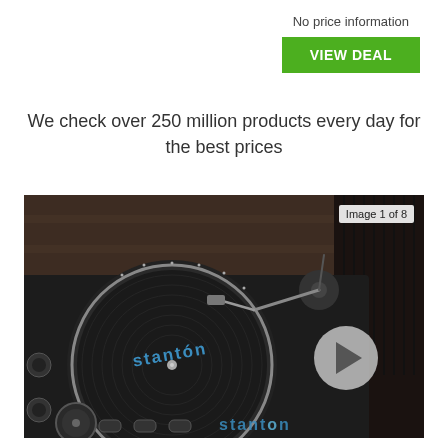No price information
VIEW DEAL
We check over 250 million products every day for the best prices
[Figure (photo): Photo of a Stanton turntable/record player from a close-up angle, black body with 'stanton' branding visible on the platter mat and on the body. Image shows tonearm and platter detail. Overlay shows play button icon and 'Image 1 of 8' label.]